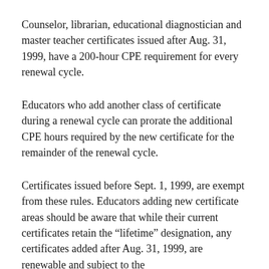Counselor, librarian, educational diagnostician and master teacher certificates issued after Aug. 31, 1999, have a 200-hour CPE requirement for every renewal cycle.
Educators who add another class of certificate during a renewal cycle can prorate the additional CPE hours required by the new certificate for the remainder of the renewal cycle.
Certificates issued before Sept. 1, 1999, are exempt from these rules. Educators adding new certificate areas should be aware that while their current certificates retain the “lifetime” designation, any certificates added after Aug. 31, 1999, are renewable and subject to the